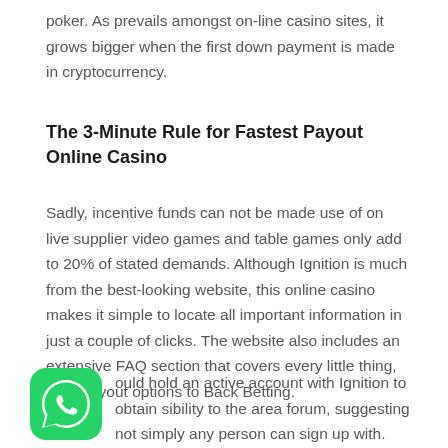poker. As prevails amongst on-line casino sites, it grows bigger when the first down payment is made in cryptocurrency.
The 3-Minute Rule for Fastest Payout Online Casino
Sadly, incentive funds can not be made use of on live supplier video games and table games only add to 20% of stated demands. Although Ignition is much from the best-looking website, this online casino makes it simple to locate all important information in just a couple of clicks. The website also includes an extensive FAQ section that covers every little thing, from payout options to Back Betting.
[Figure (logo): WhatsApp green rounded square icon with white phone handset]
ould hold an active account with Ignition to obtain sibility to the area forum, suggesting not simply any person can sign up with. Ideal Fast Cash-Out Online Casino